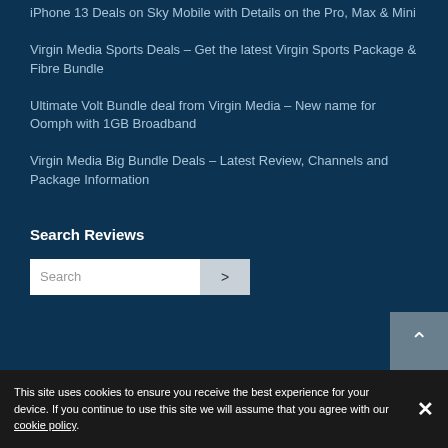iPhone 13 Deals on Sky Mobile with Details on the Pro, Max & Mini
Virgin Media Sports Deals – Get the latest Virgin Sports Package & Fibre Bundle
Ultimate Volt Bundle deal from Virgin Media – New name for Oomph with 1GB Broadband
Virgin Media Big Bundle Deals – Latest Review, Channels and Package Information
Search Reviews
This site uses cookies to ensure you receive the best experience for your device. If you continue to use this site we will assume that you agree with our cookie policy.